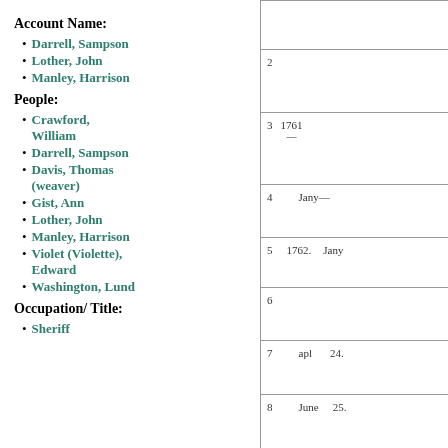Account Name:
Darrell, Sampson
Lother, John
Manley, Harrison
People:
Crawford, William
Darrell, Sampson
Davis, Thomas (weaver)
Gist, Ann
Lother, John
Manley, Harrison
Violet (Violette), Edward
Washington, Lund
Occupation/ Title:
Sheriff
| Row | Col1 | Col2 | Col3 |
| --- | --- | --- | --- |
| 2 |  |  |  |
| 3 | 1761 | — |  |
| 4 |  | Jany— |  |
| 5 | 1762. | Jany |  |
| 6 |  |  |  |
| 7 |  | apl | 24. |
| 8 |  | June | 25. |